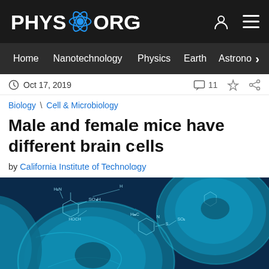[Figure (screenshot): Phys.org website header with logo, navigation bar, article metadata, breadcrumb, title, byline, and hero image of blue cell/molecular biology illustration]
PHYS.ORG
Home  Nanotechnology  Physics  Earth  Astrono  >
Oct 17, 2019   11
Biology \ Cell & Microbiology
Male and female mice have different brain cells
by California Institute of Technology
[Figure (photo): Close-up illustration of blue biological cells with overlaid molecular/chemical structure diagrams on a dark blue background]